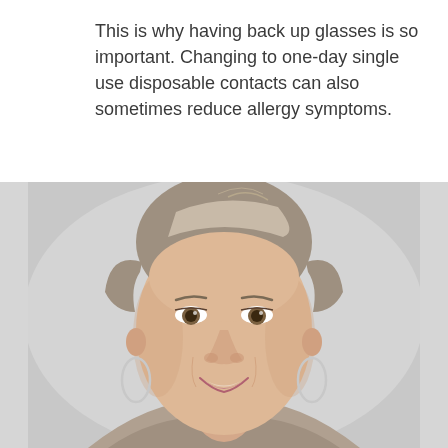This is why having back up glasses is so important. Changing to one-day single use disposable contacts can also sometimes reduce allergy symptoms.
[Figure (photo): Portrait photo of a middle-aged woman with blonde/gray hair pulled back, wearing large silver hoop earrings, smiling gently against a light gray background.]